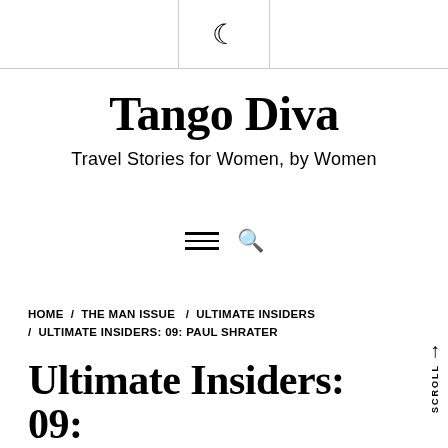🌙 (dark mode toggle icon)
Tango Diva
Travel Stories for Women, by Women
[Figure (other): Navigation hamburger menu icon and search icon]
HOME / THE MAN ISSUE / ULTIMATE INSIDERS / ULTIMATE INSIDERS: 09: PAUL SHRATER
Ultimate Insiders: 09: